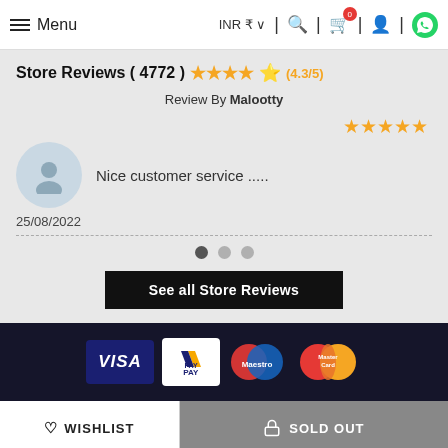Menu | INR ₹ | Search | Cart (0) | Account | WhatsApp
Store Reviews ( 4772 ) ★★★★½ (4.3/5)
Review By Malootty
[Figure (other): User avatar placeholder circle with person silhouette icon]
Nice customer service .....
25/08/2022
[Figure (other): Carousel dots: 3 dots, first one active (dark), two light grey]
See all Store Reviews
[Figure (other): Payment method logos: VISA, V PAY, Maestro, MasterCard on dark background]
♡ WISHLIST
SOLD OUT